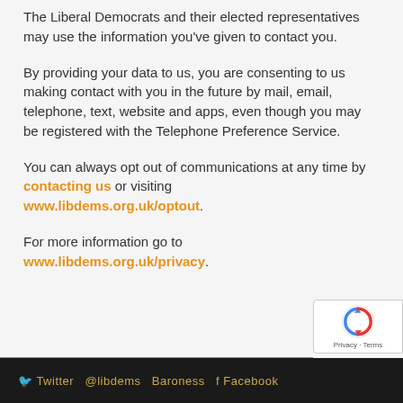The Liberal Democrats and their elected representatives may use the information you've given to contact you.
By providing your data to us, you are consenting to us making contact with you in the future by mail, email, telephone, text, website and apps, even though you may be registered with the Telephone Preference Service.
You can always opt out of communications at any time by contacting us or visiting www.libdems.org.uk/optout.
For more information go to www.libdems.org.uk/privacy.
Twitter @libdems Baroness f Facebook